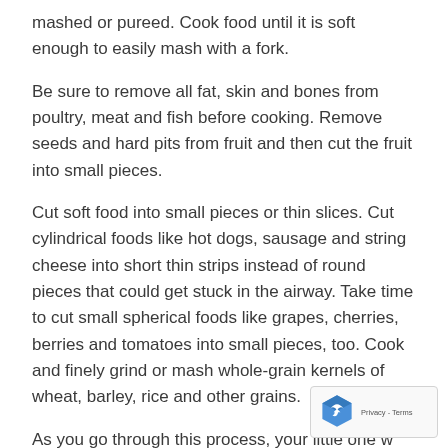mashed or pureed. Cook food until it is soft enough to easily mash with a fork.
Be sure to remove all fat, skin and bones from poultry, meat and fish before cooking. Remove seeds and hard pits from fruit and then cut the fruit into small pieces.
Cut soft food into small pieces or thin slices. Cut cylindrical foods like hot dogs, sausage and string cheese into short thin strips instead of round pieces that could get stuck in the airway. Take time to cut small spherical foods like grapes, cherries, berries and tomatoes into small pieces, too. Cook and finely grind or mash whole-grain kernels of wheat, barley, rice and other grains.
As you go through this process, your little one will begin to get excited when he sees you coming out of his high chair with bright orange carrots, hot dog